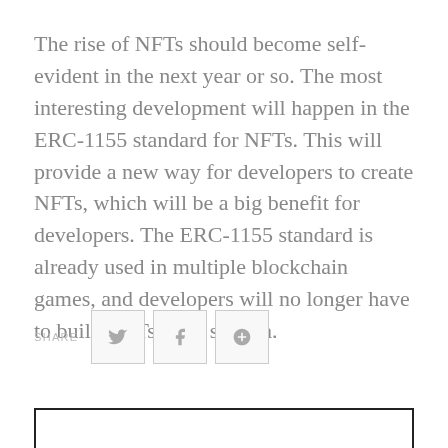The rise of NFTs should become self-evident in the next year or so. The most interesting development will happen in the ERC-1155 standard for NFTs. This will provide a new way for developers to create NFTs, which will be a big benefit for developers. The ERC-1155 standard is already used in multiple blockchain games, and developers will no longer have to build NFTs from scratch.
[Figure (other): Social share buttons row: SHARE label followed by Twitter, Facebook, and Google+ icon buttons in bordered boxes]
[Figure (other): Empty bordered box at the bottom of the page, likely an advertisement or comment section placeholder]